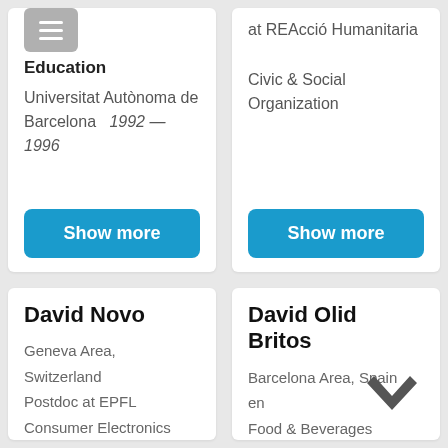Education
Universitat Autònoma de Barcelona   1992 — 1996
Show more
at REAcció Humanitaria
Civic & Social Organization
Show more
David Novo
Geneva Area, Switzerland
Postdoc at EPFL
Consumer Electronics
David Olid Britos
Barcelona Area, Spain
en
Food & Beverages